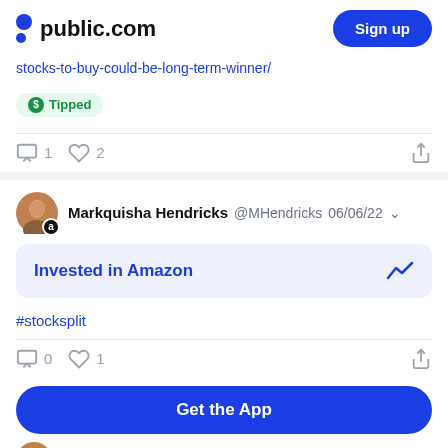public.com  Sign up
stocks-to-buy-could-be-long-term-winner/
Tipped
1  2
Markquisha Hendricks @MHendricks 06/06/22
Invested in Amazon
#stocksplit
0  1
Get the App